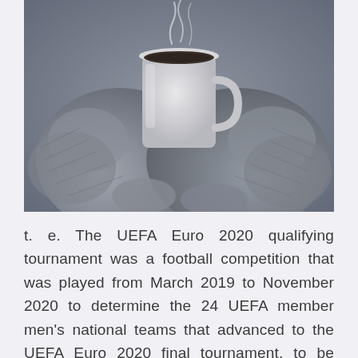[Figure (photo): Black and white photograph of two hands wearing knitted wool mittens holding a white mug/cup with steam rising from hot beverage inside.]
t. e. The UEFA Euro 2020 qualifying tournament was a football competition that was played from March 2019 to November 2020 to determine the 24 UEFA member men's national teams that advanced to the UEFA Euro 2020 final tournament, to be staged across Europe in June and July 2021. UEFA Euro 2020 is an ongoing international football tournament being held across